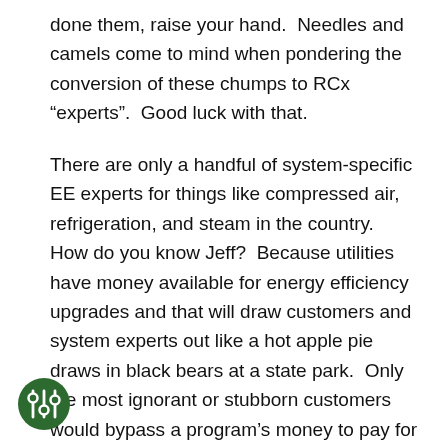done them, raise your hand.  Needles and camels come to mind when pondering the conversion of these chumps to RCx “experts”.  Good luck with that.
There are only a handful of system-specific EE experts for things like compressed air, refrigeration, and steam in the country.  How do you know Jeff?  Because utilities have money available for energy efficiency upgrades and that will draw customers and system experts out like a hot apple pie draws in black bears at a state park.  Only the most ignorant or stubborn customers would bypass a program’s money to pay for services, unless the program is awful and worth less than the time investment.  We
[Figure (logo): Dark green circle with a white settings/sliders icon (three vertical lines with adjustment circles) in the center]